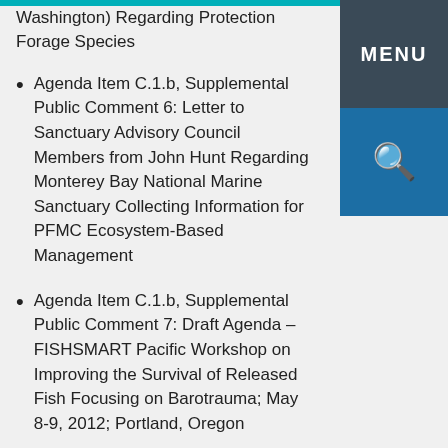Washington) Regarding Protection Forage Species
Agenda Item C.1.b, Supplemental Public Comment 6: Letter to Sanctuary Advisory Council Members from John Hunt Regarding Monterey Bay National Marine Sanctuary Collecting Information for PFMC Ecosystem-Based Management
Agenda Item C.1.b, Supplemental Public Comment 7: Draft Agenda – FISHSMART Pacific Workshop on Improving the Survival of Released Fish Focusing on Barotrauma; May 8-9, 2012; Portland, Oregon
Agenda Item C.1.b, Supplemental Public